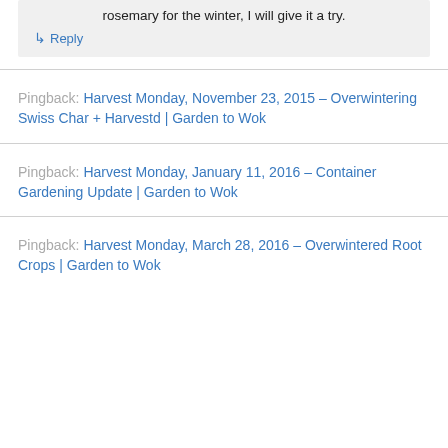rosemary for the winter, I will give it a try.
↳ Reply
Pingback: Harvest Monday, November 23, 2015 – Overwintering Swiss Char + Harvestd | Garden to Wok
Pingback: Harvest Monday, January 11, 2016 – Container Gardening Update | Garden to Wok
Pingback: Harvest Monday, March 28, 2016 – Overwintered Root Crops | Garden to Wok